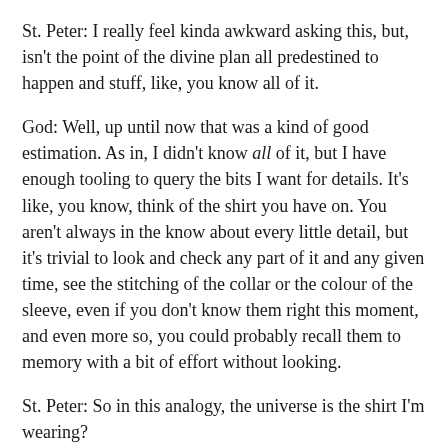St. Peter: I really feel kinda awkward asking this, but, isn't the point of the divine plan all predestined to happen and stuff, like, you know all of it.
God: Well, up until now that was a kind of good estimation. As in, I didn't know all of it, but I have enough tooling to query the bits I want for details. It's like, you know, think of the shirt you have on. You aren't always in the know about every little detail, but it's trivial to look and check any part of it and any given time, see the stitching of the collar or the colour of the sleeve, even if you don't know them right this moment, and even more so, you could probably recall them to memory with a bit of effort without looking.
St. Peter: So in this analogy, the universe is the shirt I'm wearing?